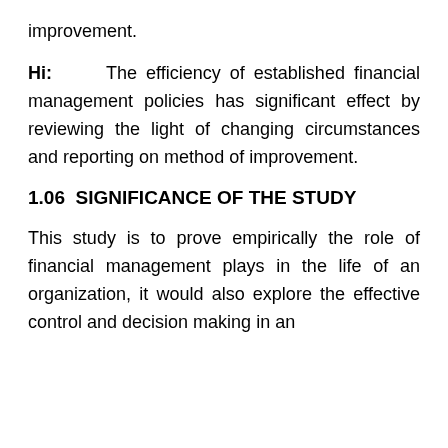improvement.
Hi:    The efficiency of established financial management policies has significant effect by reviewing the light of changing circumstances and reporting on method of improvement.
1.06  SIGNIFICANCE OF THE STUDY
This study is to prove empirically the role of financial management plays in the life of an organization, it would also explore the effective control and decision making in an